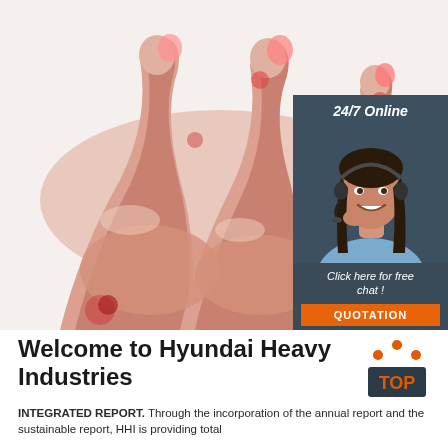[Figure (photo): Raw chicken drumsticks/meat pieces on white background, top portion of page]
[Figure (infographic): Advertisement box with dark blue-grey background showing '24/7 Online' header, woman with headset photo, 'Click here for free chat!' text, and orange 'QUOTATION' button]
Welcome to Hyundai Heavy Industries
[Figure (logo): TOP badge with orange dots arranged in arc above orange 'TOP' text on dark background]
INTEGRATED REPORT. Through the incorporation of the annual report and the sustainable report, HHI is providing total